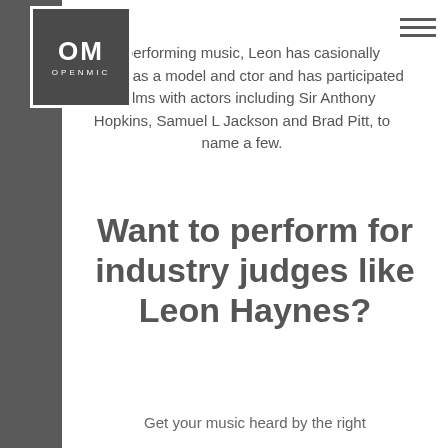[Figure (logo): OpenMic logo: dark grey square with white border, 'OM' in large white letters and 'OPENMIC' in small white caps below]
nd performing music, Leon has casionally worked as a model and ctor and has participated in films with actors including Sir Anthony Hopkins, Samuel L Jackson and Brad Pitt, to name a few.
Want to perform for industry judges like Leon Haynes?
Get your music heard by the right